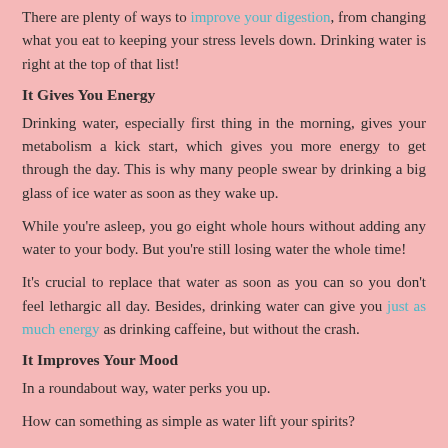There are plenty of ways to improve your digestion, from changing what you eat to keeping your stress levels down. Drinking water is right at the top of that list!
It Gives You Energy
Drinking water, especially first thing in the morning, gives your metabolism a kick start, which gives you more energy to get through the day. This is why many people swear by drinking a big glass of ice water as soon as they wake up.
While you're asleep, you go eight whole hours without adding any water to your body. But you're still losing water the whole time!
It's crucial to replace that water as soon as you can so you don't feel lethargic all day. Besides, drinking water can give you just as much energy as drinking caffeine, but without the crash.
It Improves Your Mood
In a roundabout way, water perks you up.
How can something as simple as water lift your spirits?